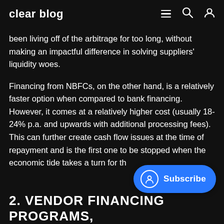clear blog
been living off of the arbitrage for too long, without making an impactful difference in solving suppliers' liquidity woes.
Financing from NBFCs, on the other hand, is a relatively faster option when compared to bank financing. However, it comes at a relatively higher cost (usually 18-24% p.a. and upwards with additional processing fees). This can further create cash flow issues at the time of repayment and is the first one to be stopped when the economic tide takes a turn for th
2. VENDOR FINANCING PROGRAMS,